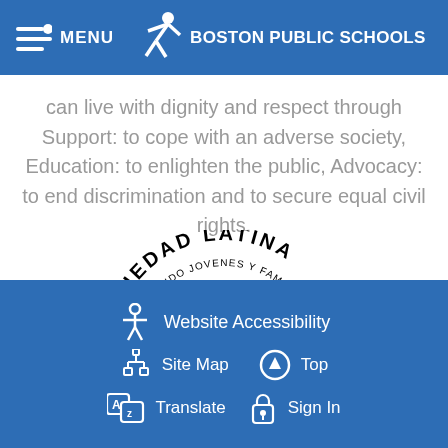MENU  BOSTON PUBLIC SCHOOLS
can live with dignity and respect through Support: to cope with an adverse society, Education: to enlighten the public, Advocacy: to end discrimination and to secure equal civil rights.
[Figure (logo): Sociedad Latina logo — circular seal with globe and text 'SOCIEDAD LATINA FORTALECIENDO JOVENES Y FAMILIAS']
Website Accessibility  Site Map  Top  Translate  Sign In